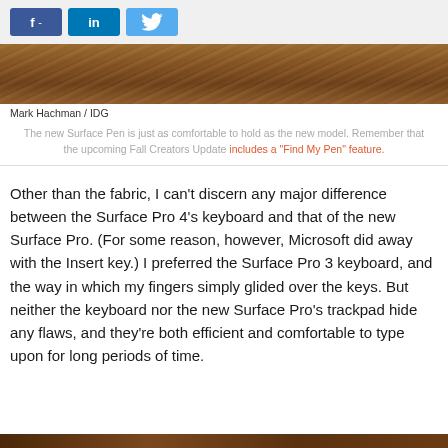[Figure (other): Social media share buttons: Facebook (f), LinkedIn (in), Twitter (bird icon)]
[Figure (photo): Close-up photo of wood grain texture, brown tones]
Mark Hachman / IDG
The new Surface Pen is just as comfortable to hold as the new model. Remember that the upcoming Fall Creators Update includes a "Find My Pen" feature.
Other than the fabric, I can't discern any major difference between the Surface Pro 4's keyboard and that of the new Surface Pro. (For some reason, however, Microsoft did away with the Insert key.) I preferred the Surface Pro 3 keyboard, and the way in which my fingers simply glided over the keys. But neither the keyboard nor the new Surface Pro's trackpad hide any flaws, and they're both efficient and comfortable to type upon for long periods of time.
[Figure (photo): Bottom edge of another photo, brown wood texture]